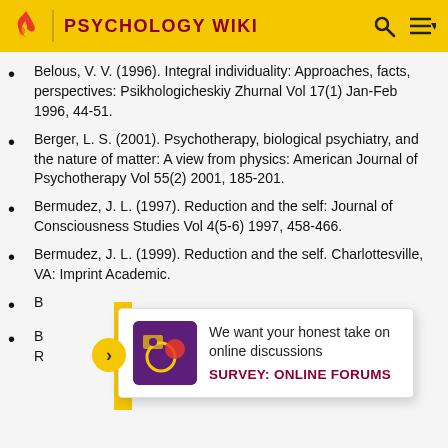PSYCHOLOGY WIKI
Belous, V. V. (1996). Integral individuality: Approaches, facts, perspectives: Psikhologicheskiy Zhurnal Vol 17(1) Jan-Feb 1996, 44-51.
Berger, L. S. (2001). Psychotherapy, biological psychiatry, and the nature of matter: A view from physics: American Journal of Psychotherapy Vol 55(2) 2001, 185-201.
Bermudez, J. L. (1997). Reduction and the self: Journal of Consciousness Studies Vol 4(5-6) 1997, 458-466.
Bermudez, J. L. (1999). Reduction and the self. Charlottesville, VA: Imprint Academic.
B[partially obscured]
B[partially obscured] ...ng R...).
[Figure (screenshot): Survey popup overlay: 'We want your honest take on online discussions' with label 'SURVEY: ONLINE FORUMS' and a decorative image thumbnail on a purple background]